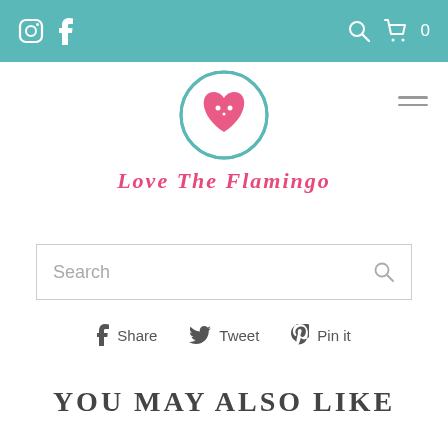Love The Flamingo — navigation bar with Instagram, Facebook icons and search, cart, 0
[Figure (logo): Love The Flamingo logo: teal circle with flamingo heart icon, pink script text 'Love The Flamingo' below]
Share   Tweet   Pin it
YOU MAY ALSO LIKE